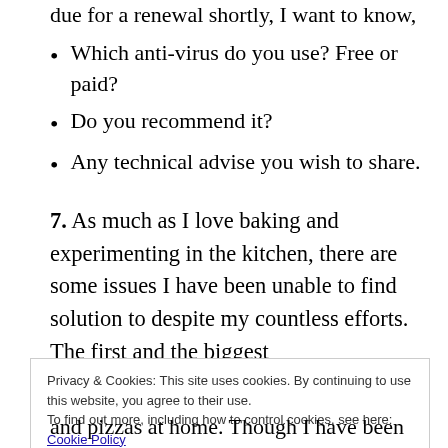due for a renewal shortly, I want to know,
Which anti-virus do you use? Free or paid?
Do you recommend it?
Any technical advise you wish to share.
7. As much as I love baking and experimenting in the kitchen, there are some issues I have been unable to find solution to despite my countless efforts. The first and the biggest
Privacy & Cookies: This site uses cookies. By continuing to use this website, you agree to their use.
To find out more, including how to control cookies, see here: Cookie Policy
and pizzas at home. Though I have been using